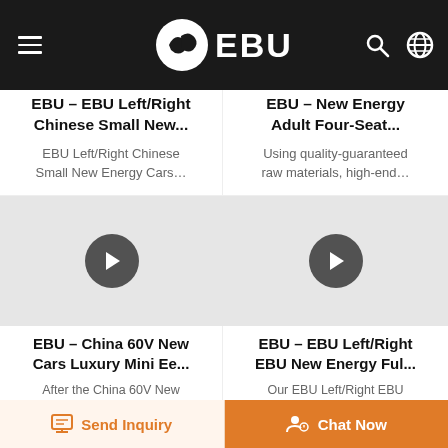EBU
EBU - EBU Left/Right Chinese Small New...
EBU Left/Right Chinese Small New Energy Cars...
EBU - New Energy Adult Four-Seat...
Using quality-guaranteed raw materials, high-end...
[Figure (screenshot): Video thumbnail with play button - EBU China 60V New Cars Luxury Mini Ee...]
[Figure (screenshot): Video thumbnail with play button - EBU Left/Right EBU New Energy Ful...]
EBU - China 60V New Cars Luxury Mini Ee...
After the China 60V New Cars Luxury Mini Eee 55...
EBU - EBU Left/Right EBU New Energy Ful...
Our EBU Left/Right EBU New Energy Fully Enclose...
Send Inquiry
Chat Now